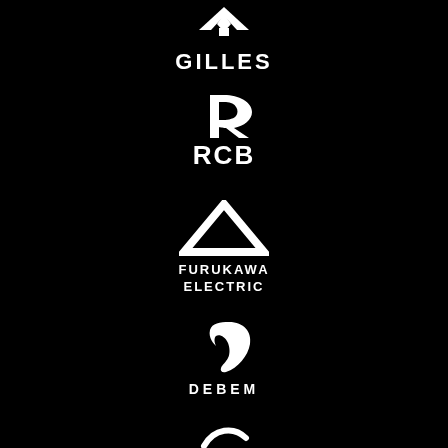[Figure (logo): GILLES logo with geometric diamond/wing icon above bold white text 'GILLES' on black background]
[Figure (logo): RCB logo with stylized swoosh/speed mark icon above bold white text 'RCB' on black background]
[Figure (logo): Furukawa Electric logo with white triangle/house outline icon above two-line bold white text 'FURUKAWA ELECTRIC' on black background]
[Figure (logo): DEBEM logo with stylized circular 'D' or drop icon above spaced white text 'DEBEM' on black background]
[Figure (logo): Partial fifth logo visible at bottom of page, showing a white curved/swoosh element on black background]